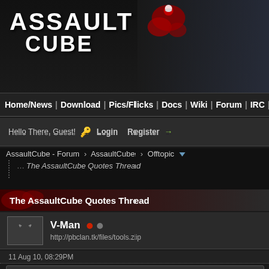[Figure (screenshot): AssaultCube game website logo with red splatter graphic]
Home/News | Download | Pics/Flicks | Docs | Wiki | Forum | IRC | D
Hello There, Guest! 🔑 Login  Register →
AssaultCube - Forum › AssaultCube › Offtopic ▼
The AssaultCube Quotes Thread
The AssaultCube Quotes Thread
V-Man •• http://pbclan.tk/files/tools.zip
11 Aug 10, 08:29PM
Gibstick Wrote:
finish off the Makkeron by tricking him into typing a very long taunt and g